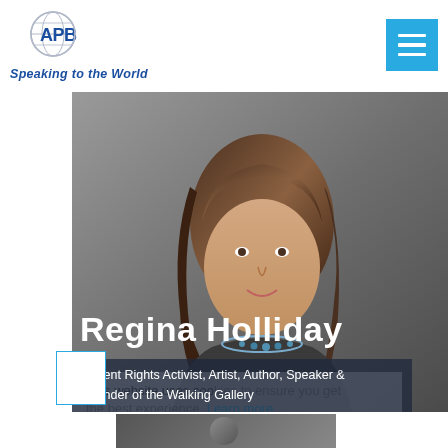[Figure (logo): APB Speakers Bureau logo with globe and text 'APB' and tagline 'Speaking to the World']
[Figure (photo): Hamburger menu icon button in light blue/cyan background with three white horizontal lines]
[Figure (photo): Professional headshot of Regina Holliday, a woman with brown hair wearing a blue beaded necklace and dark top, against a gray background. Overlaid text shows her name and title.]
This website uses cookies to ensure you get the best experience. Learn more
Regina Holliday
Patient Rights Activist, Artist, Author, Speaker & Founder of the Walking Gallery
[Figure (photo): Partial view of another person's photo at the bottom of the page]